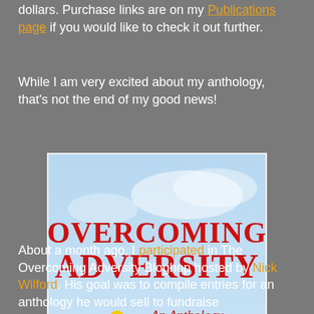dollars. Purchase links are on my Publications page if you would like to check it out further.
While I am very excited about my anthology, that's not the end of my good news!
[Figure (photo): Book cover of 'Overcoming Adversity: An Anthology for Andrew', edited by Nick Wilford. Features a large sunflower against a blue sky background. Title and subtitle in red text, editor's name in red at the bottom.]
About a month ago, I participated in The Overcoming Adversity Bloghop hosted by Nick Wilford. His goal was to compile entries for an anthology he would sell to fundraise